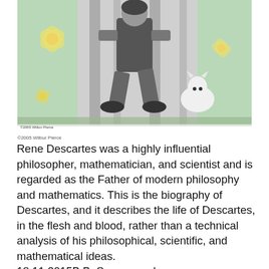[Figure (photo): Black and white vintage photograph of a person crouching down, set against a light green background with yellow flower decorations. Copyright watermark reads '©2005 Wilbur Pierce' at bottom left of image.]
©2005 Wilbur Pierce
Rene Descartes was a highly influential philosopher, mathematician, and scientist and is regarded as the Father of modern philosophy and mathematics. This is the biography of Descartes, and it describes the life of Descartes, in the flesh and blood, rather than a technical analysis of his philosophical, scientific, and mathematical ideas. 18.11.2015B B· Some people are